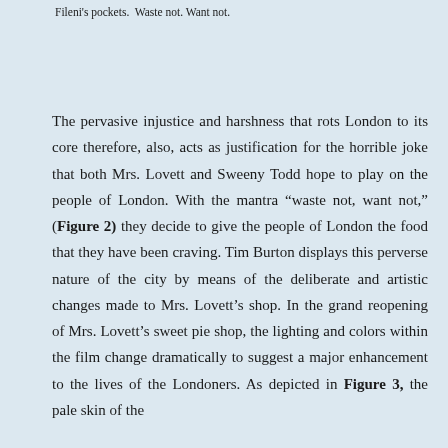Fileni's pockets.  Waste not. Want not.
The pervasive injustice and harshness that rots London to its core therefore, also, acts as justification for the horrible joke that both Mrs. Lovett and Sweeny Todd hope to play on the people of London. With the mantra “waste not, want not,” (Figure 2) they decide to give the people of London the food that they have been craving. Tim Burton displays this perverse nature of the city by means of the deliberate and artistic changes made to Mrs. Lovett’s shop. In the grand reopening of Mrs. Lovett’s sweet pie shop, the lighting and colors within the film change dramatically to suggest a major enhancement to the lives of the Londoners. As depicted in Figure 3, the pale skin of the